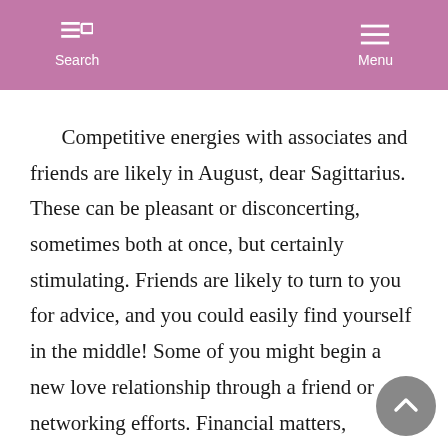Search  Menu
Competitive energies with associates and friends are likely in August, dear Sagittarius. These can be pleasant or disconcerting, sometimes both at once, but certainly stimulating. Friends are likely to turn to you for advice, and you could easily find yourself in the middle! Some of you might begin a new love relationship through a friend or networking efforts. Financial matters, particularly money earned from business, can be tense for the time being, although changes taking place now are likely to bring you to a much better place at a later date. Until the 23rd, you are feeling especially adventurous and philosophical. An